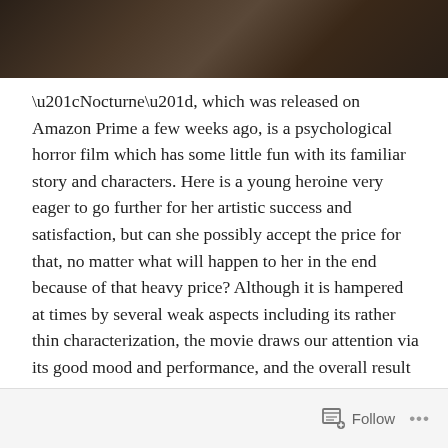[Figure (photo): Partial photograph strip at the top of the page, showing a dark scene]
“Nocturne”, which was released on Amazon Prime a few weeks ago, is a psychological horror film which has some little fun with its familiar story and characters. Here is a young heroine very eager to go further for her artistic success and satisfaction, but can she possibly accept the price for that, no matter what will happen to her in the end because of that heavy price? Although it is hampered at times by several weak aspects including its rather thin characterization, the movie draws our attention via its good mood and performance, and the overall result is one of better offerings from the partnership between Amazon Studios and Blumhouse Studios.
Follow ...